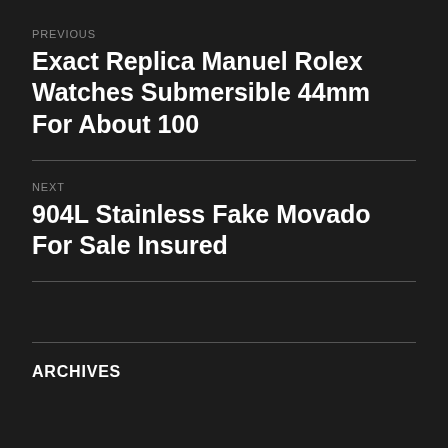PREVIOUS
Exact Replica Manuel Rolex Watches Submersible 44mm For About 100
NEXT
904L Stainless Fake Movado For Sale Insured
ARCHIVES